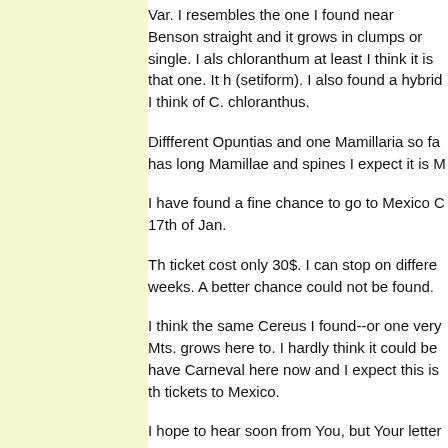Var. I resembles the one I found near Benson straight and it grows in clumps or single. I also chloranthum at least I think it is that one. It h (setiform). I also found a hybrid I think of C. chloranthus.
Diffferent Opuntias and one Mamillaria so fa has long Mamillae and spines I expect it is M
I have found a fine chance to go to Mexico C 17th of Jan.
Th ticket cost only 30$. I can stop on differen weeks. A better chance could not be found.
I think the same Cereus I found--or one very Mts. grows here to. I hardly think it could be have Carneval here now and I expect this is th tickets to Mexico.
I hope to hear soon from You, but Your letter any more.
My best regards to Mr. Brandegee and Miss C
Very sincerely Yours